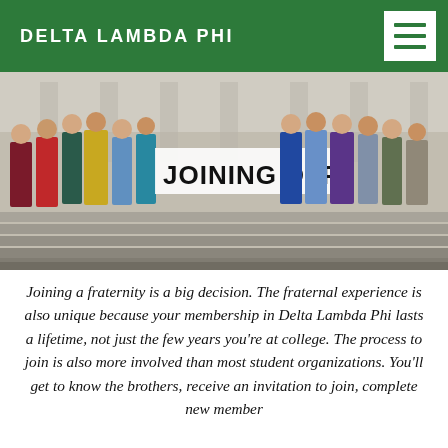DELTA LAMBDA PHI
[Figure (photo): Group photo of fraternity brothers standing on steps of a building, with a white overlay box reading 'JOINING DLP' in bold black text]
Joining a fraternity is a big decision. The fraternal experience is also unique because your membership in Delta Lambda Phi lasts a lifetime, not just the few years you're at college. The process to join is also more involved than most student organizations. You'll get to know the brothers, receive an invitation to join, complete new member education, and be initiated as full